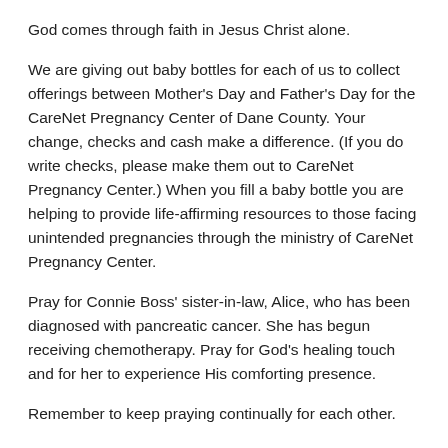God comes through faith in Jesus Christ alone.
We are giving out baby bottles for each of us to collect offerings between Mother's Day and Father's Day for the CareNet Pregnancy Center of Dane County. Your change, checks and cash make a difference. (If you do write checks, please make them out to CareNet Pregnancy Center.) When you fill a baby bottle you are helping to provide life-affirming resources to those facing unintended pregnancies through the ministry of CareNet Pregnancy Center.
Pray for Connie Boss' sister-in-law, Alice, who has been diagnosed with pancreatic cancer. She has begun receiving chemotherapy. Pray for God's healing touch and for her to experience His comforting presence.
Remember to keep praying continually for each other.